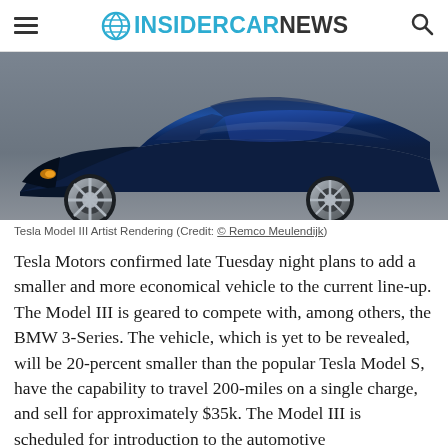INSIDER CAR NEWS
[Figure (photo): Tesla Model III artist rendering showing front and side view of a blue Tesla sedan on a grey background]
Tesla Model III Artist Rendering (Credit: © Remco Meulendijk)
Tesla Motors confirmed late Tuesday night plans to add a smaller and more economical vehicle to the current line-up. The Model III is geared to compete with, among others, the BMW 3-Series. The vehicle, which is yet to be revealed, will be 20-percent smaller than the popular Tesla Model S, have the capability to travel 200-miles on a single charge, and sell for approximately $35k. The Model III is scheduled for introduction to the automotive